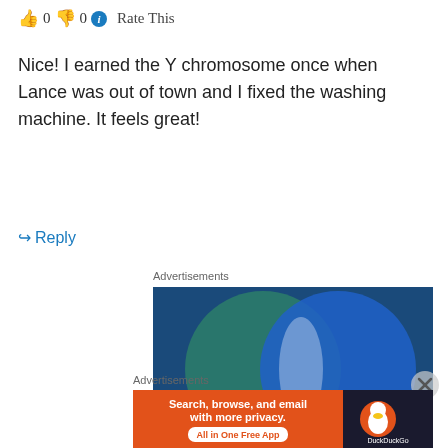👍 0 👎 0 ℹ️ Rate This
Nice! I earned the Y chromosome once when Lance was out of town and I fixed the washing machine. It feels great!
↪ Reply
Advertisements
[Figure (illustration): Venn diagram advertisement with two overlapping circles on a dark blue background. Left circle (teal/green) labeled 'Everything you need', right circle (blue) labeled 'Anything you want'. The overlap region is lighter blue/white.]
Advertisements
[Figure (illustration): DuckDuckGo advertisement banner. Orange left section with white bold text: 'Search, browse, and email with more privacy.' and 'All in One Free App'. Dark right section with DuckDuckGo duck logo and 'DuckDuckGo' text.]